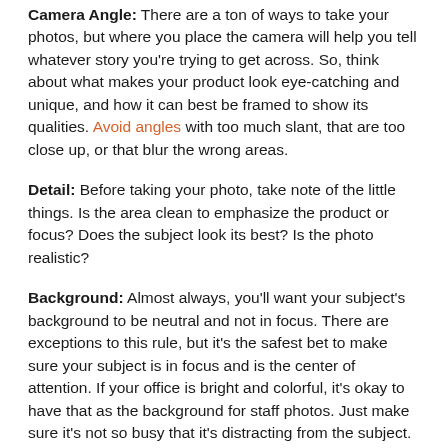Camera Angle: There are a ton of ways to take your photos, but where you place the camera will help you tell whatever story you're trying to get across. So, think about what makes your product look eye-catching and unique, and how it can best be framed to show its qualities. Avoid angles with too much slant, that are too close up, or that blur the wrong areas.
Detail: Before taking your photo, take note of the little things. Is the area clean to emphasize the product or focus? Does the subject look its best? Is the photo realistic?
Background: Almost always, you'll want your subject's background to be neutral and not in focus. There are exceptions to this rule, but it's the safest bet to make sure your subject is in focus and is the center of attention. If your office is bright and colorful, it's okay to have that as the background for staff photos. Just make sure it's not so busy that it's distracting from the subject.